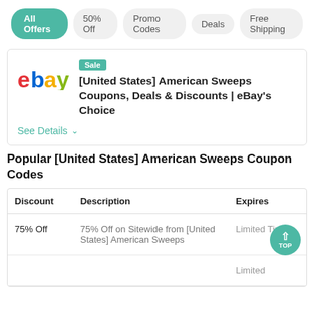All Offers | 50% Off | Promo Codes | Deals | Free Shipping
[Figure (logo): eBay logo with colorful letters e(red), b(blue), a(yellow), y(green)]
[United States] American Sweeps Coupons, Deals & Discounts | eBay's Choice
See Details
Popular [United States] American Sweeps Coupon Codes
| Discount | Description | Expires |
| --- | --- | --- |
| 75% Off | 75% Off on Sitewide from [United States] American Sweeps | Limited Time |
|  |  | Limited |